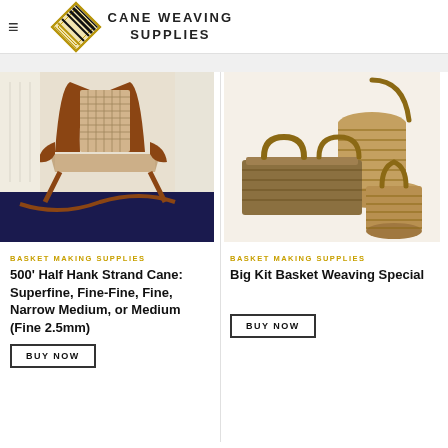[Figure (logo): Cane Weaving Supplies logo with diamond/basket-weave geometric icon and text 'CANE WEAVING SUPPLIES']
[Figure (photo): Wooden rocking chair with cane woven seat and back]
BASKET MAKING SUPPLIES
500' Half Hank Strand Cane: Superfine, Fine-Fine, Fine, Narrow Medium, or Medium (Fine 2.5mm)
BUY NOW
[Figure (photo): Three woven baskets of various sizes including a tall cylindrical basket, a rectangular tray basket, and a handled basket]
BASKET MAKING SUPPLIES
Big Kit Basket Weaving Special
BUY NOW